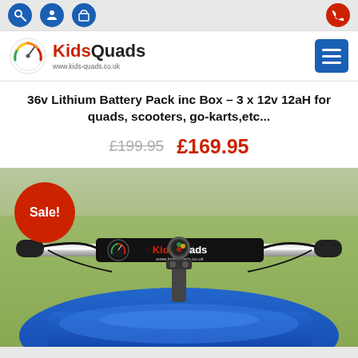[Figure (screenshot): Mobile website screenshot of KidsQuads e-commerce page showing navigation bar with search, user, and cart icons]
[Figure (logo): KidsQuads logo with speedometer icon and text 'KidsQuads www.kids-quads.co.uk']
36v Lithium Battery Pack inc Box – 3 x 12v 12aH for quads, scooters, go-karts,etc...
£199.95  £169.95
[Figure (photo): Close-up photo of a blue quad bike handlebar area with KidsQuads branded pad, showing handlebar controls and grassy background. A red 'Sale!' badge overlays the top-left of the image.]